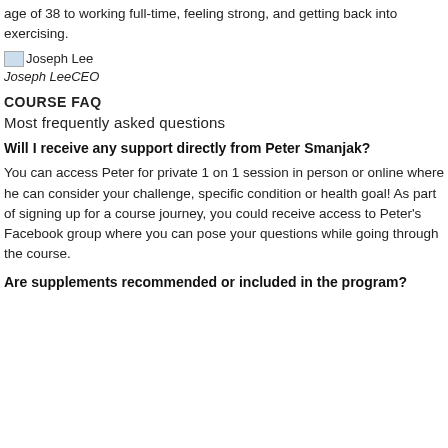age of 38 to working full-time, feeling strong, and getting back into exercising.
[Figure (photo): Small portrait photo of Joseph Lee]
Joseph LeeCEO
COURSE FAQ
Most frequently asked questions
Will I receive any support directly from Peter Smanjak?
You can access Peter for private 1 on 1 session in person or online where he can consider your challenge, specific condition or health goal! As part of signing up for a course journey, you could receive access to Peter's Facebook group where you can pose your questions while going through the course.
Are supplements recommended or included in the program?